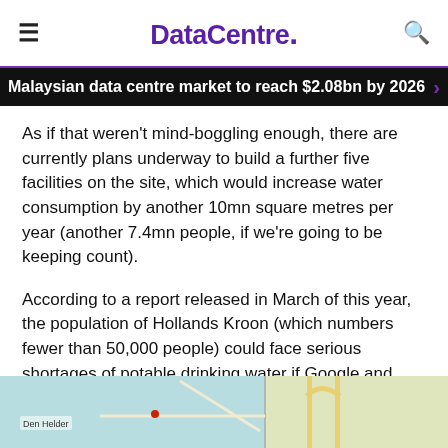DataCentre.
Malaysian data centre market to reach $2.08bn by 2026
As if that weren't mind-boggling enough, there are currently plans underway to build a further five facilities on the site, which would increase water consumption by another 10mn square metres per year (another 7.4mn people, if we're going to be keeping count).
According to a report released in March of this year, the population of Hollands Kroon (which numbers fewer than 50,000 people) could face serious shortages of potable drinking water if Google and Microsoft continue with their planned construction projects on the Agriport site.
[Figure (map): Map showing the Agriport area near Den Helder, Netherlands, with road network visible.]